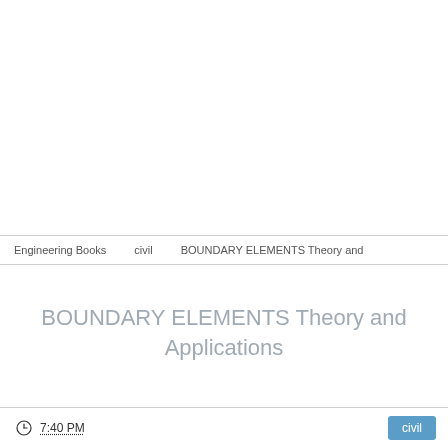Engineering Books   civil   BOUNDARY ELEMENTS Theory and
BOUNDARY ELEMENTS Theory and Applications
7:40 PM   civil